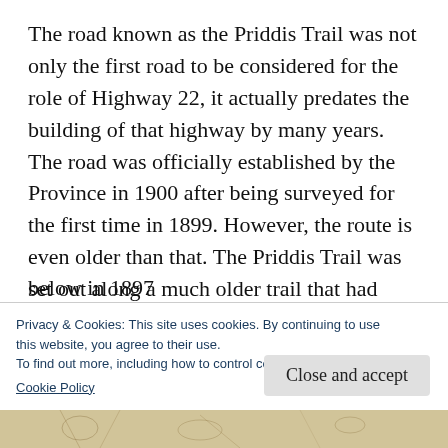The road known as the Priddis Trail was not only the first road to be considered for the role of Highway 22, it actually predates the building of that highway by many years. The road was officially established by the Province in 1900 after being surveyed for the first time in 1899. However, the route is even older than that. The Priddis Trail was set out along a much older trail that had been in use by local First Nations for decades, if not centuries. The trail is shown below in 1897.
Privacy & Cookies: This site uses cookies. By continuing to use this website, you agree to their use.
To find out more, including how to control cookies, see here:
Cookie Policy
Close and accept
[Figure (photo): Partial view of a historical map strip at the bottom of the page]